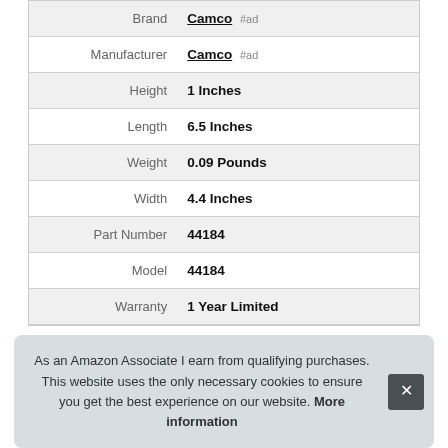| Attribute | Value |
| --- | --- |
| Brand | Camco #ad |
| Manufacturer | Camco #ad |
| Height | 1 Inches |
| Length | 6.5 Inches |
| Weight | 0.09 Pounds |
| Width | 4.4 Inches |
| Part Number | 44184 |
| Model | 44184 |
| Warranty | 1 Year Limited |
As an Amazon Associate I earn from qualifying purchases. This website uses the only necessary cookies to ensure you get the best experience on our website. More information